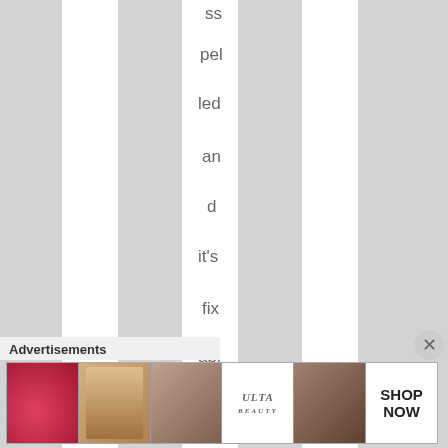ss pel led and it's fix abl e It's th e se nt en ce I ma
Advertisements
[Figure (screenshot): Advertisement banner showing beauty/makeup products including lips, brush, eye, Ulta Beauty logo, eyes, and SHOP NOW text]